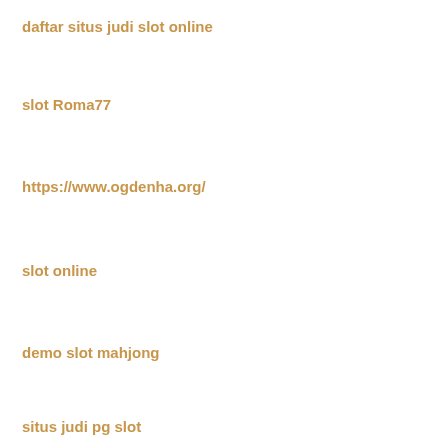daftar situs judi slot online
slot Roma77
https://www.ogdenha.org/
slot online
demo slot mahjong
situs judi pg slot